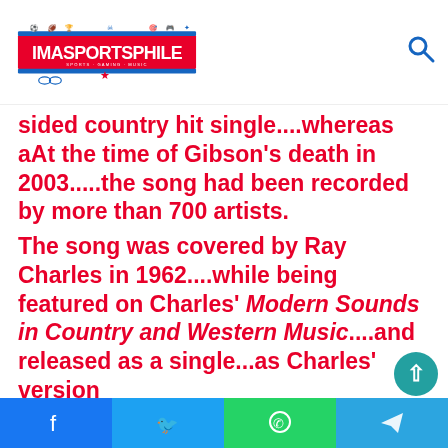IMASPORTSPHILE
sided country hit  single....whereas aAt the time of Gibson’s death in 2003.....the song had been recorded by more than 700 artists.

The song was covered by Ray Charles in 1962....while being featured on Charles’ Modern Sounds in Country and Western Music....and released as a single...as Charles’ version